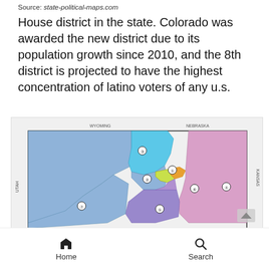Source: state-political-maps.com
House district in the state. Colorado was awarded the new district due to its population growth since 2010, and the 8th district is projected to have the highest concentration of latino voters of any u.s.
[Figure (map): Colorado congressional district map showing 8 districts colored in blue, purple, pink, cyan, green, and yellow. Bordered by Wyoming (north), Nebraska (northeast), Kansas (east), Oklahoma (southeast), New Mexico (south), and Utah (west). District numbers labeled with circled numbers on the map.]
Home   Search